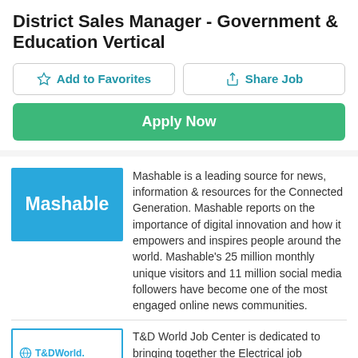District Sales Manager - Government & Education Vertical
[Figure (screenshot): Add to Favorites button with star icon]
[Figure (screenshot): Share Job button with share icon]
[Figure (screenshot): Apply Now green button]
[Figure (logo): Mashable logo - blue background with white bold text]
Mashable is a leading source for news, information & resources for the Connected Generation. Mashable reports on the importance of digital innovation and how it empowers and inspires people around the world. Mashable's 25 million monthly unique visitors and 11 million social media followers have become one of the most engaged online news communities.
[Figure (logo): T&D World Job Center logo - teal border box with globe icon]
T&D World Job Center is dedicated to bringing together the Electrical job openings of the nation and the candidates specifically looking for them. The entire focus is on Electrical jobs in the construction and energy industries; this means jobs posted on this site will only attract the most relevant candidates.